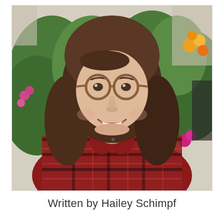[Figure (photo): Portrait photo of a young woman with long brown hair and round tortoiseshell glasses, smiling, wearing a red plaid flannel shirt. Background shows green plants, brick wall, and colorful flowers (pink, orange, yellow).]
Written by Hailey Schimpf